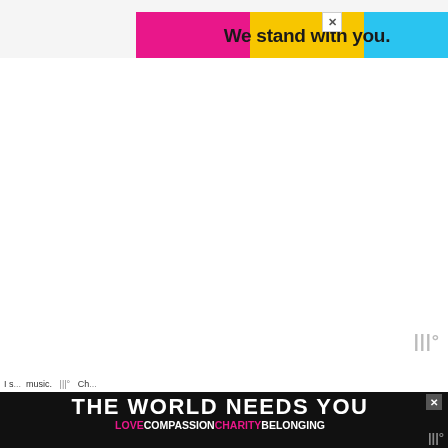[Figure (infographic): Top banner advertisement with three color blocks (pink, yellow, blue) and bold text 'We stand with you.' with a close button]
[Figure (infographic): Bottom banner advertisement with black background, white bold text 'THE WORLD NEEDS YOU' and colored text 'LOVE COMPASSION CHARITY BELONGING' with a close button]
Woo° watermark logo (gray)
I s... music. Woo° | Ch...